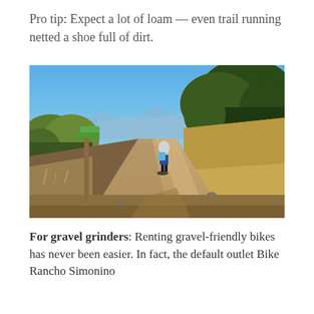Pro tip: Expect a lot of loam — even trail running netted a shoe full of dirt.
[Figure (photo): A cyclist riding away from the camera on a wide dirt trail path through shrubby hillside vegetation under a clear blue sky. A wooden signpost with green trail markers is visible on the left side of the trail. Mountains are visible in the background.]
For gravel grinders: Renting gravel-friendly bikes has never been easier. In fact, the default outlet Bike Rancho Simonino